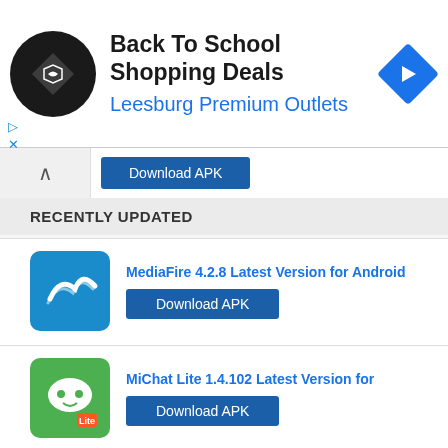[Figure (infographic): Ad banner: Back To School Shopping Deals at Leesburg Premium Outlets with circular logo and blue diamond navigation icon]
Download APK
RECENTLY UPDATED
MediaFire 4.2.8 Latest Version for Android
Download APK
MiChat Lite 1.4.102 Latest Version for
Download APK
Sweet Selfie 2018 2.0 Latest Version for
Download APK